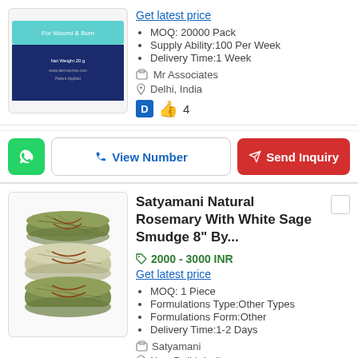[Figure (photo): Product image of a cream/ointment pack with teal and blue packaging]
Get latest price
MOQ: 20000 Pack
Supply Ability:100 Per Week
Delivery Time:1 Week
Mr Associates
Delhi, India
D 👍 4
View Number
Send Inquiry
Satyamani Natural Rosemary With White Sage Smudge 8" By...
2000 - 3000 INR
Get latest price
MOQ: 1 Piece
Formulations Type:Other Types
Formulations Form:Other
Delivery Time:1-2 Days
Satyamani
New Delhi, India
[Figure (photo): Three bundles of rosemary with white sage smudge sticks tied with cord]